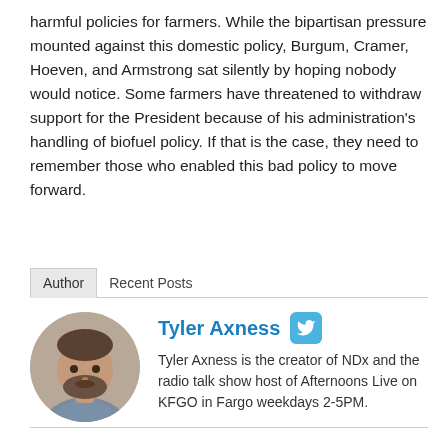harmful policies for farmers. While the bipartisan pressure mounted against this domestic policy, Burgum, Cramer, Hoeven, and Armstrong sat silently by hoping nobody would notice. Some farmers have threatened to withdraw support for the President because of his administration's handling of biofuel policy. If that is the case, they need to remember those who enabled this bad policy to move forward.
Author   Recent Posts
[Figure (photo): Circular profile photo of Tyler Axness, a man with a beard wearing a gray shirt]
Tyler Axness
Tyler Axness is the creator of NDx and the radio talk show host of Afternoons Live on KFGO in Fargo weekdays 2-5PM.